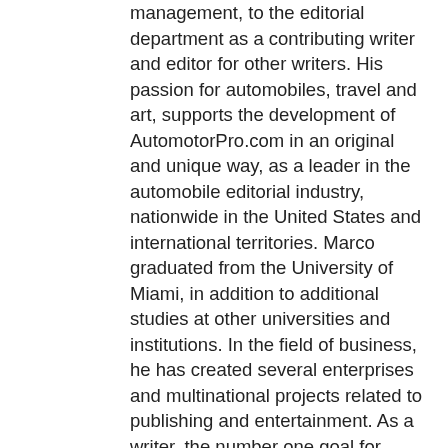management, to the editorial department as a contributing writer and editor for other writers. His passion for automobiles, travel and art, supports the development of AutomotorPro.com in an original and unique way, as a leader in the automobile editorial industry, nationwide in the United States and international territories. Marco graduated from the University of Miami, in addition to additional studies at other universities and institutions. In the field of business, he has created several enterprises and multinational projects related to publishing and entertainment. As a writer, the number one goal for Marco Carvajal is to be able to communicate clear information easy to understand for our subscribers, in an easy language, very detailed, about automobiles and lifestyle. He also likes to show a different perspective, with innovative style, about the information and characteristics of each car, mostly oriented to the daily life, about what each person may want learn about each car.